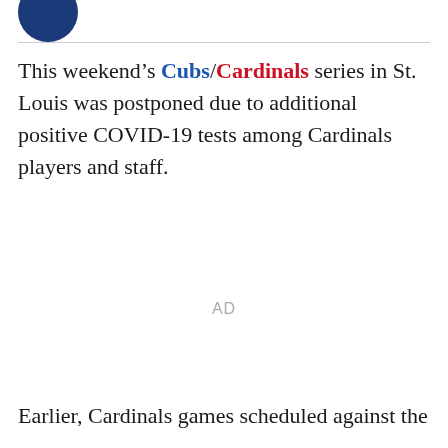[Figure (logo): Partial dark blue circular logo at top left]
This weekend’s Cubs/Cardinals series in St. Louis was postponed due to additional positive COVID-19 tests among Cardinals players and staff.
AD
Earlier, Cardinals games scheduled against the